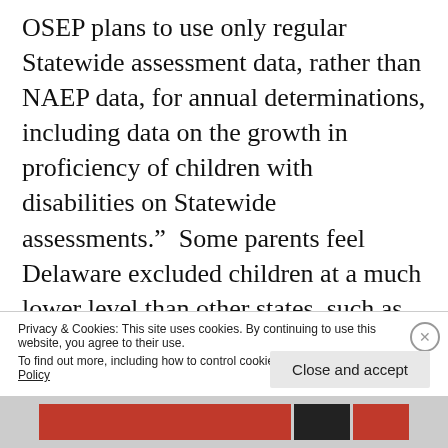OSEP plans to use only regular Statewide assessment data, rather than NAEP data, for annual determinations, including data on the growth in proficiency of children with disabilities on Statewide assessments.”  Some parents feel Delaware excluded children at a much lower level than other states, such as Maryland, which may have made Delaware look worse.  But also written in
Privacy & Cookies: This site uses cookies. By continuing to use this website, you agree to their use.
To find out more, including how to control cookies, see here: Cookie Policy